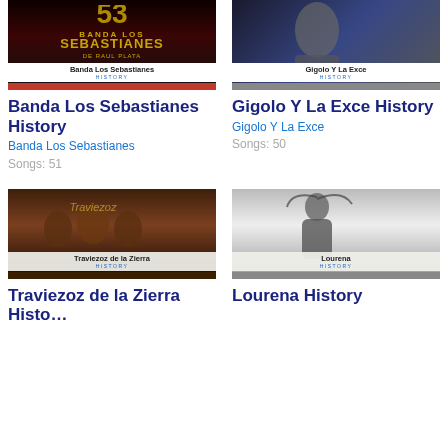[Figure (photo): Album art for Banda Los Sebastianes History with dark red background and gold text logo, white label strip at bottom]
[Figure (photo): Album art for Gigolo Y La Exce History with a colorful artist photo, white label strip at bottom]
Banda Los Sebastianes History
Banda Los Sebastianes
Songs: 51
Gigolo Y La Exce History
Gigolo Y La Exce
Songs: 50
[Figure (photo): Album art for Traviezoz de la Zierra History showing group photo with dramatic sky background]
[Figure (photo): Album art for Lourena History showing black and white artist photo]
Traviezoz de la Zierra Histo…
Lourena History